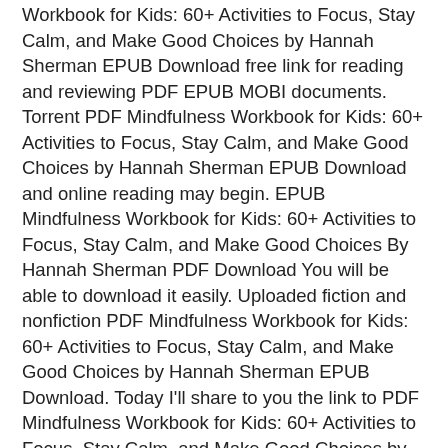Workbook for Kids: 60+ Activities to Focus, Stay Calm, and Make Good Choices by Hannah Sherman EPUB Download free link for reading and reviewing PDF EPUB MOBI documents. Torrent PDF Mindfulness Workbook for Kids: 60+ Activities to Focus, Stay Calm, and Make Good Choices by Hannah Sherman EPUB Download and online reading may begin. EPUB Mindfulness Workbook for Kids: 60+ Activities to Focus, Stay Calm, and Make Good Choices By Hannah Sherman PDF Download You will be able to download it easily. Uploaded fiction and nonfiction PDF Mindfulness Workbook for Kids: 60+ Activities to Focus, Stay Calm, and Make Good Choices by Hannah Sherman EPUB Download. Today I'll share to you the link to PDF Mindfulness Workbook for Kids: 60+ Activities to Focus, Stay Calm, and Make Good Choices by Hannah Sherman EPUB Download free new ebook. Read it on your Kindle device, PC, phones or tablets Audio Download.
New eBook was published downloads zip PDF Mindfulness Workbook for Kids: 60+ Activities to Focus, Stay Calm, and Make Good Choices by Hannah Sherman EPUB Download Audio Download, Unabridged. EPUB Mindfulness Workbook for Kids: 60+ Activities to Focus, Stay Calm, and Make Good Choices By Hannah Sherman PDF Download You will be able to download it